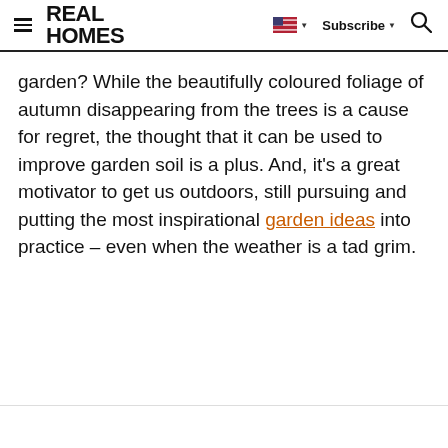REAL HOMES
garden? While the beautifully coloured foliage of autumn disappearing from the trees is a cause for regret, the thought that it can be used to improve garden soil is a plus. And, it's a great motivator to get us outdoors, still pursuing and putting the most inspirational garden ideas into practice – even when the weather is a tad grim.